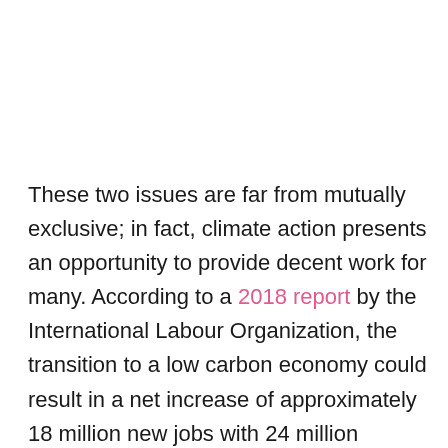These two issues are far from mutually exclusive; in fact, climate action presents an opportunity to provide decent work for many. According to a 2018 report by the International Labour Organization, the transition to a low carbon economy could result in a net increase of approximately 18 million new jobs with 24 million employment opportunities by 2030, compared to the six million anticipated losses in industries heavily reliant on carbon-based production. The shift to a greener economy will also help to protect 1.2 billion jobs dependent on a